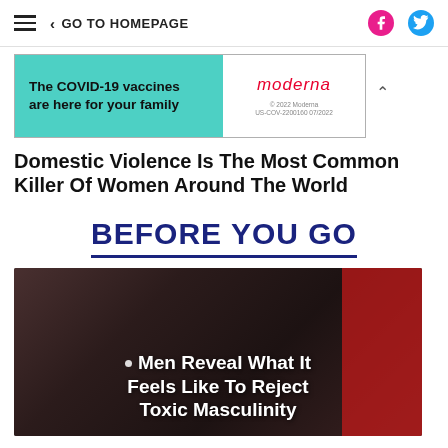GO TO HOMEPAGE
[Figure (other): Moderna COVID-19 vaccine advertisement banner: 'The COVID-19 vaccines are here for your family' with Moderna logo]
Domestic Violence Is The Most Common Killer Of Women Around The World
BEFORE YOU GO
[Figure (photo): Dark photo of a man smiling with text overlay: 'Men Reveal What It Feels Like To Reject Toxic Masculinity']